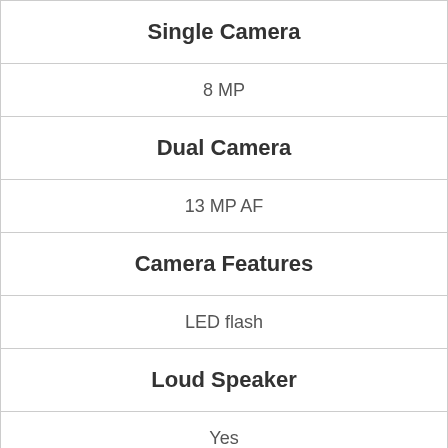| Single Camera |
| 8 MP |
| Dual Camera |
| 13 MP AF |
| Camera Features |
| LED flash |
| Loud Speaker |
| Yes |
| Audio Jack |
| Yes |